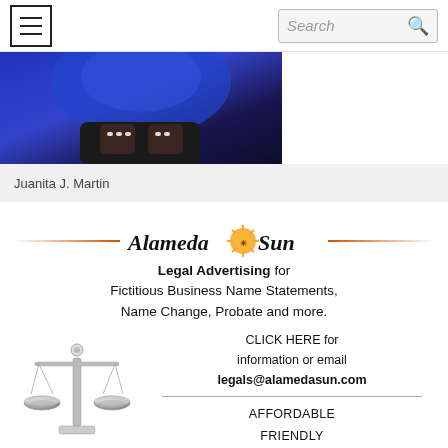hamburger menu | Search
[Figure (photo): Cropped photo of a person wearing a blue patterned outfit, hands visible in foreground, dark background]
Juanita J. Martin
[Figure (infographic): Alameda Sun Legal Advertising banner ad with scales of justice image. Legal Advertising for Fictitious Business Name Statements, Name Change, Probate and more. CLICK HERE for information or email legals@alamedasun.com. AFFORDABLE FRIENDLY LOCAL.]